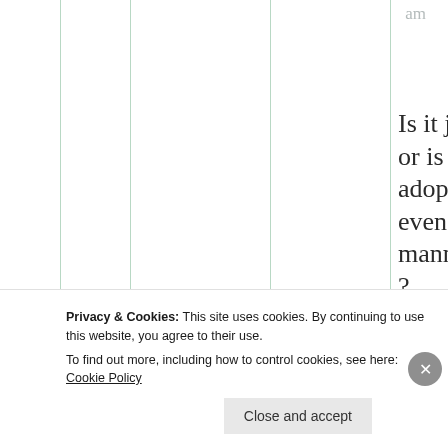am
Is it just me or is bdb adopting even my mannerisms ?
★ Liked by 1 person
Privacy & Cookies: This site uses cookies. By continuing to use this website, you agree to their use. To find out more, including how to control cookies, see here: Cookie Policy
Close and accept